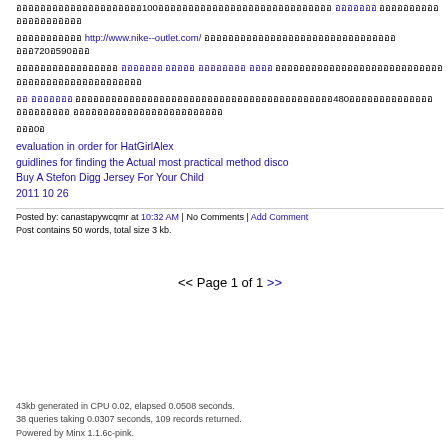อออออออออออออออออออออ100อออออออออออออออออออออออออออออ อออออออ อออออออออออออออออออออ
อออออออออออ http://www.nike--outlet.com/ อออออออออออออออออออออออออออออออออออ720อ590อออ
อออออออออออออออออ อออออออ อออออ ออออออออ ออออ อออออออออออออออออออออออออออออออออออออออออออออออออ อออออออ ออออ
ออ อออออออ อออออออออออออออออออออออออออออออออออออ480อออออออออออออออออออออออ อออออออออออออออออออออออออ อออ0อ
evaluation in order for HatGirlAlex
guidlines for finding the Actual most practical method disco
Buy A Stefon Digg Jersey For Your Child
2011 10 26
Posted by: canastapywcqmr at 10:32 AM | No Comments | Add Comment
Post contains 50 words, total size 3 kb.
<< Page 1 of 1 >>
43kb generated in CPU 0.02, elapsed 0.0508 seconds.
38 queries taking 0.0307 seconds, 109 records returned.
Powered by Minx 1.1.6c-pink.